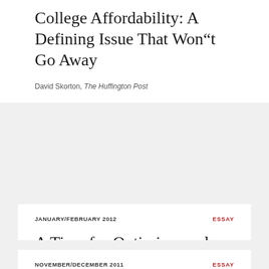College Affordability: A Defining Issue That Won“t Go Away
David Skorton, The Huffington Post
JANUARY/FEBRUARY 2012
ESSAY
A Time for Optimism and Involvement
David Skorton, Cornell Alumni Magazine
NOVEMBER/DECEMBER 2011
ESSAY